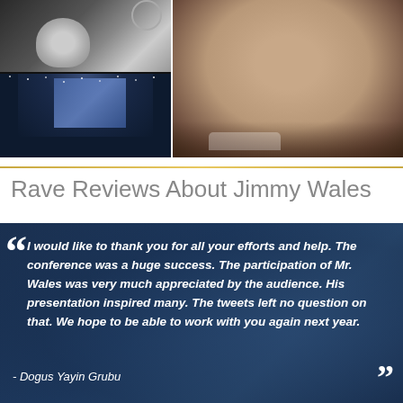[Figure (photo): Two photos on the left: top shows a person in dark setting, bottom shows a conference stage with blue lighting and screen. Right photo shows a close-up of a man's face (Jimmy Wales) in dark jacket.]
Rave Reviews About Jimmy Wales
“ I would like to thank you for all your efforts and help. The conference was a huge success. The participation of Mr. Wales was very much appreciated by the audience. His presentation inspired many. The tweets left no question on that. We hope to be able to work with you again next year.

- Dogus Yayin Grubu ”